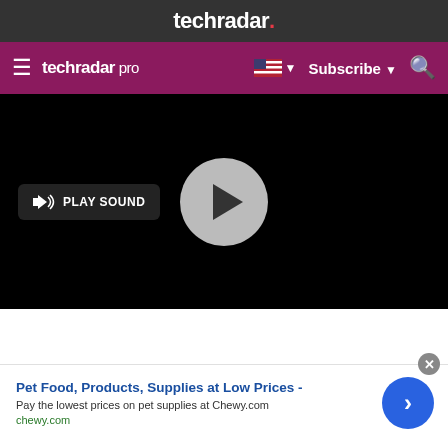techradar.
techradar pro  Subscribe
[Figure (screenshot): Black video player with a play button (gray circle with triangle) in center and a 'PLAY SOUND' button with speaker icon on the left side]
Pet Food, Products, Supplies at Low Prices - Pay the lowest prices on pet supplies at Chewy.com chewy.com